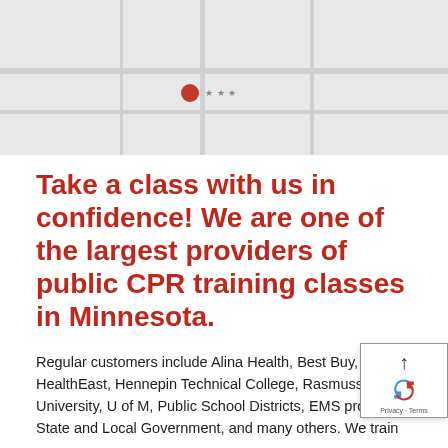[Figure (map): A grey map background with road lines and a red location pin marker placed roughly center-left of the map area.]
Take a class with us in confidence! We are one of the largest providers of public CPR training classes in Minnesota.
Regular customers include Alina Health, Best Buy, HealthEast, Hennepin Technical College, Rasmussen University, U of M, Public School Districts, EMS providers, State and Local Government, and many others. We train